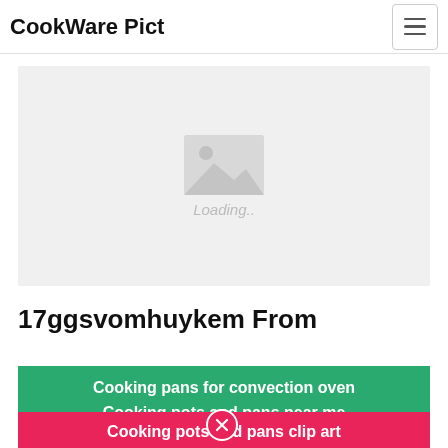CookWare Pict
[Figure (other): Image placeholder with loading indicator showing a mountain/photo icon and 'Loading..' text on a light gray background]
17ggsvomhuykem From
Cooking pans for convection oven
Cooking pots and pans near me
Cooking pots and pans clip art